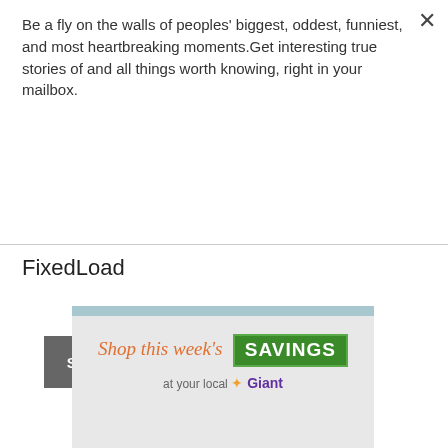Be a fly on the walls of peoples' biggest, oddest, funniest, and most heartbreaking moments.Get interesting true stories of and all things worth knowing, right in your mailbox.
Subscribe
FixedLoad
[Figure (illustration): Giant supermarket advertisement showing 'Shop this week's SAVINGS at your local Giant' with shop now and free pickup buttons at bottom]